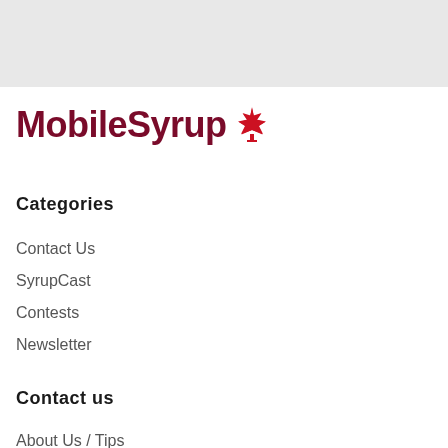[Figure (logo): MobileSyrup logo with red maple leaf icon]
Categories
Contact Us
SyrupCast
Contests
Newsletter
Contact us
About Us / Tips